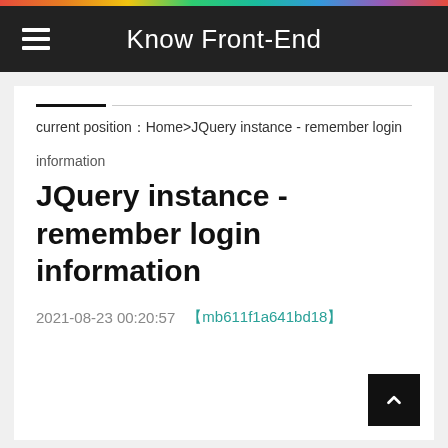Know Front-End
current position：Home>JQuery instance - remember login
information
JQuery instance - remember login information
2021-08-23 00:20:57  【mb611f1a641bd18】